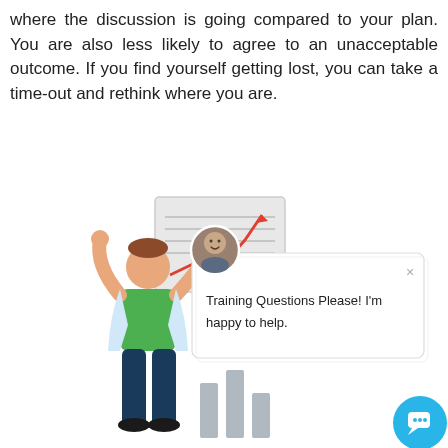where the discussion is going compared to your plan. You are also less likely to agree to an unacceptable outcome. If you find yourself getting lost, you can take a time-out and rethink where you are.
[Figure (illustration): Illustration of a person celebrating with raised arms in front of a presentation board showing an upward trending chart. A chat support popup overlay shows a profile photo avatar and the text 'Training Questions Please! I'm happy to help.' with a close (×) button. A blue circular chat button with a speech bubble icon appears in the bottom right corner.]